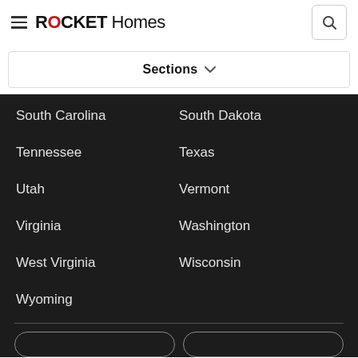ROCKET Homes
Sections
South Carolina
South Dakota
Tennessee
Texas
Utah
Vermont
Virginia
Washington
West Virginia
Wisconsin
Wyoming